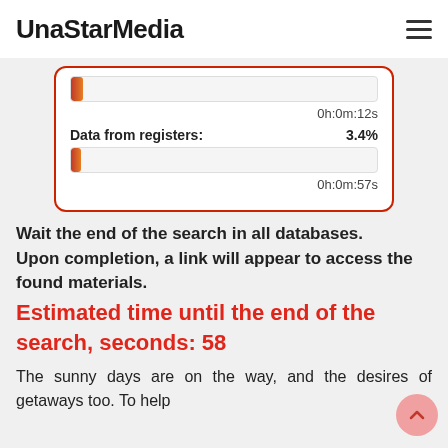UnaStarMedia
[Figure (screenshot): Progress card with two progress bars. First bar at a small percentage with time 0h:0m:12s. Second bar labeled 'Data from registers: 3.4%' with time 0h:0m:57s. Card has red border.]
Wait the end of the search in all databases.
Upon completion, a link will appear to access the found materials.
Estimated time until the end of the search, seconds: 58
The sunny days are on the way, and the desires of getaways too. To help